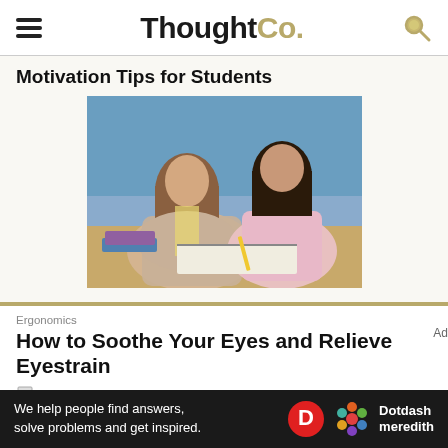ThoughtCo.
Motivation Tips for Students
[Figure (photo): A teacher or adult woman leaning over a desk helping a young girl with writing or schoolwork, both looking down at a notebook. Blue background, wooden desk, books visible.]
Ergonomics
How to Soothe Your Eyes and Relieve Eyestrain
We help people find answers, solve problems and get inspired.
[Figure (logo): Dotdash Meredith logo — D circle in red and colorful flower icon with text 'Dotdash meredith']